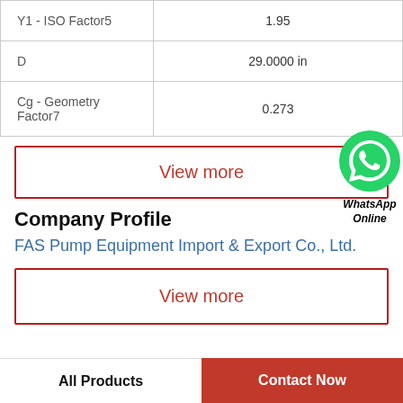| Parameter | Value |
| --- | --- |
| Y1 - ISO Factor5 | 1.95 |
| D | 29.0000 in |
| Cg - Geometry Factor7 | 0.273 |
View more
[Figure (logo): WhatsApp green phone icon with WhatsApp Online label]
Company Profile
FAS Pump Equipment Import & Export Co., Ltd.
View more
All Products | Contact Now